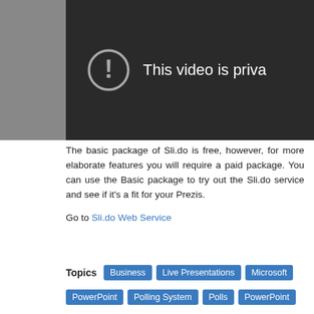[Figure (screenshot): YouTube-style private video placeholder showing a circle with exclamation mark icon and text 'This video is priva...' on dark background]
The basic package of Sli.do is free, however, for more elaborate features you will require a paid package. You can use the Basic package to try out the Sli.do service and see if it's a fit for your Prezis.
Go to Sli.do Web Service
Topics  Business  Live Presentations  Microsoft  PowerPoint  Polling System  Polls  PowerPoint